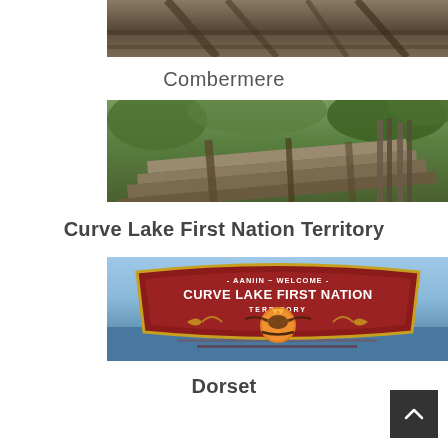[Figure (photo): Partial view of weathered wooden structure/roof with beams, top portion cropped]
Combermere
[Figure (photo): Weathered wooden boards and roofing structure surrounded by green foliage]
Curve Lake First Nation Territory
[Figure (photo): Welcome sign for Curve Lake First Nation Territory reading '- AANIIN ~ WELCOME - CURVE LAKE FIRST NATION TERRITORY' with eagle and canoe imagery on red background]
Dorset